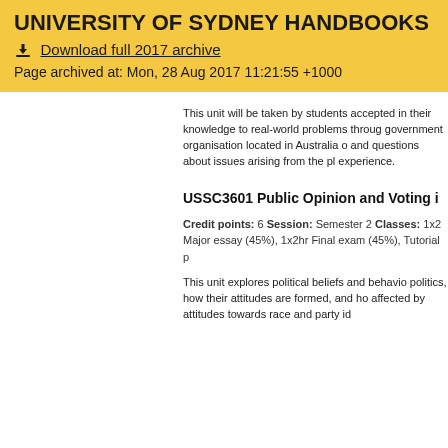UNIVERSITY OF SYDNEY HANDBOOKS - 2017
Download full 2017 archive
Page archived at: Mon, 28 Aug 2017 11:21:55 +1000
This unit will be taken by students accepted in their knowledge to real-world problems through government organisation located in Australia o and questions about issues arising from the pl experience.
USSC3601 Public Opinion and Voting i
Credit points: 6 Session: Semester 2 Classes: 1x2 Major essay (45%), 1x2hr Final exam (45%), Tutorial p
This unit explores political beliefs and behavio politics, how their attitudes are formed, and ho affected by attitudes towards race and party id